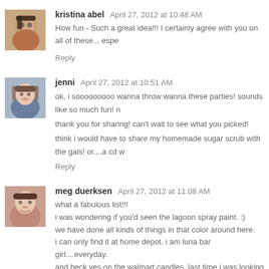kristina abel  April 27, 2012 at 10:48 AM
How fun - Such a great idea!!! I certainly agree with you on all of these... espe
Reply
jenni  April 27, 2012 at 10:51 AM
ok, i sooooooooo wanna throw wanna these parties! sounds like so much fun! n
thank you for sharing! can't wait to see what you picked!
think i would have to share my homemade sugar scrub with the gals! or....a cd w
Reply
meg duerksen  April 27, 2012 at 11:08 AM
what a fabulous list!!!
i was wondering if you'd seen the lagoon spray paint. :)
we have done all kinds of things in that color around here.
i can only find it at home depot. i am luna bar girl....everyday.
and heck yes on the walmart candles. last time i was looking for my favorit probably.
miss you.